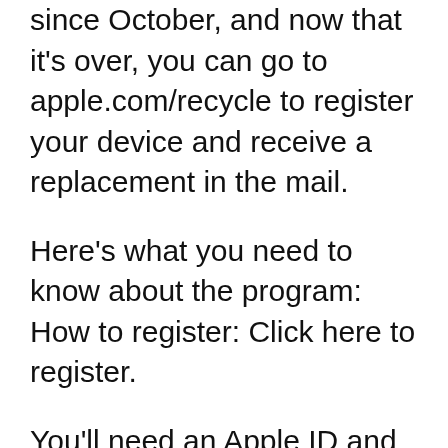since October, and now that it's over, you can go to apple.com/recycle to register your device and receive a replacement in the mail.
Here's what you need to know about the program: How to register: Click here to register.
You'll need an Apple ID and password.
You can only register once, so make sure you don't have a bunch of old iPhones or iPads around that you're not using.
The app will then send a reminder to you once the new device is in the recycling bin.